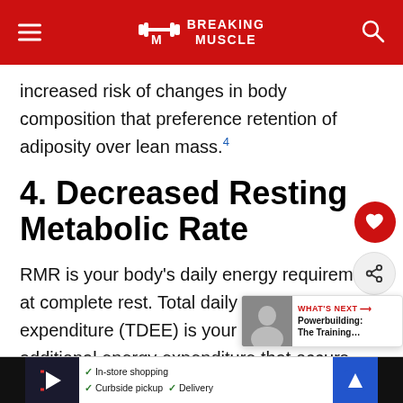Breaking Muscle
increased risk of changes in body composition that preference retention of adiposity over lean mass.[4]
4. Decreased Resting Metabolic Rate
RMR is your body's daily energy requirement at complete rest. Total daily energy expenditure (TDEE) is your RMR plus any additional energy expenditure that occurs throughout the day (ie, walking, exercising, etc).